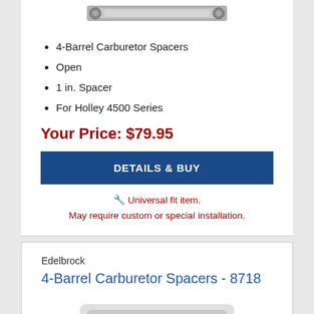[Figure (photo): Partial product image of a carburetor spacer part, visible at top of first card]
4-Barrel Carburetor Spacers
Open
1 in. Spacer
For Holley 4500 Series
Your Price: $79.95
DETAILS & BUY
🔧 Universal fit item. May require custom or special installation.
Edelbrock
4-Barrel Carburetor Spacers - 8718
[Figure (photo): Edelbrock 4-Barrel Carburetor Spacer product image showing a dark metal gasket/spacer plate]